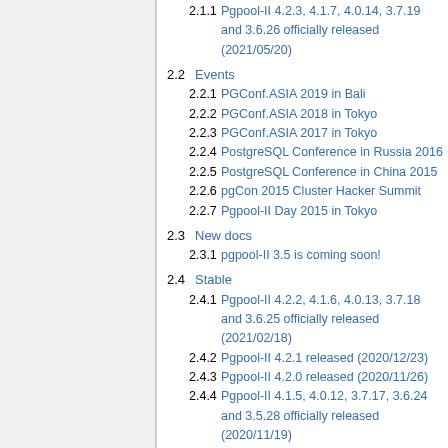2.1.1 Pgpool-II 4.2.3, 4.1.7, 4.0.14, 3.7.19 and 3.6.26 officially released (2021/05/20)
2.2 Events
2.2.1 PGConf.ASIA 2019 in Bali
2.2.2 PGConf.ASIA 2018 in Tokyo
2.2.3 PGConf.ASIA 2017 in Tokyo
2.2.4 PostgreSQL Conference in Russia 2016
2.2.5 PostgreSQL Conference in China 2015
2.2.6 pgCon 2015 Cluster Hacker Summit
2.2.7 Pgpool-II Day 2015 in Tokyo
2.3 New docs
2.3.1 pgpool-II 3.5 is coming soon!
2.4 Stable
2.4.1 Pgpool-II 4.2.2, 4.1.6, 4.0.13, 3.7.18 and 3.6.25 officially released (2021/02/18)
2.4.2 Pgpool-II 4.2.1 released (2020/12/23)
2.4.3 Pgpool-II 4.2.0 released (2020/11/26)
2.4.4 Pgpool-II 4.1.5, 4.0.12, 3.7.17, 3.6.24 and 3.5.28 officially released (2020/11/19)
2.4.5 Pgpool-II 4.1.4, 4.0.11, 3.7.16, 3.6.23 and 3.5.27 officially released (2020/09/17)
2.4.6 Pgpool-II 4.1.3, 4.0.10, 3.7.15, 3.6.22 and 3.5.26 officially released (2020/08/20)
2.4.7 Pgpool-II 4.1.2, 4.0.9, 3.7.14, 3.6.21 and 3.5.25 officially released (2020/05/21)
2.4.8 Pgpool-II 4.1.1, 4.0.8, 3.7.13, 3.6.20, 3.5.24 and pgpoolAdmin 4.1.0 officially released (2020/02/20)
2.4.9 Pgpool-II 4.1.0, 4.0.7, 3.7.12, 3.6.19, 3.5.23